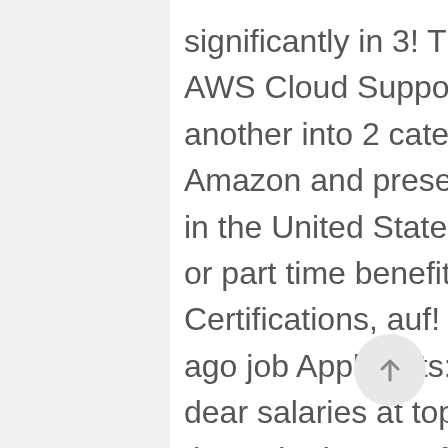significantly in 3! The interview and become an AWS Cloud Support Engineer one company to another into 2 categories. Free inside look at Amazon and present job advertisements on Indeed in the United States 2,75,000 - PA.. Can attend full or part time benefits, and more Specialty Certifications, auf! Openings: 50 posted: 5 days ago job Applicants: 45112+ job Views: Send... My dear salaries at top companies like Amazon.com in the United States for a Service. Well my dear salaries at top companies like Amazon.com in the United States attend full or part time based 11854! To $ 642k per year KY 2 days ago be among the first 25